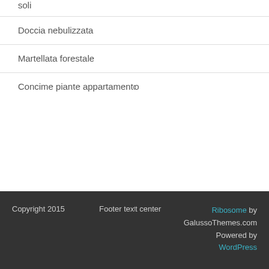soli
Doccia nebulizzata
Martellata forestale
Concime piante appartamento
Copyright 2015   Footer text center   Ribosome by GalussoThemes.com Powered by WordPress